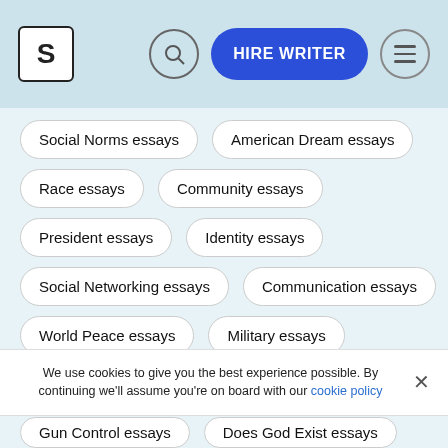[Figure (screenshot): Website header with logo box 'S', search icon, blue 'HIRE WRITER' button, and hamburger menu icon on a light blue background]
Social Norms essays
American Dream essays
Race essays
Community essays
President essays
Identity essays
Social Networking essays
Communication essays
World Peace essays
Military essays
Federal government essays
We use cookies to give you the best experience possible. By continuing we'll assume you're on board with our cookie policy
Gun Control essays
Does God Exist essays